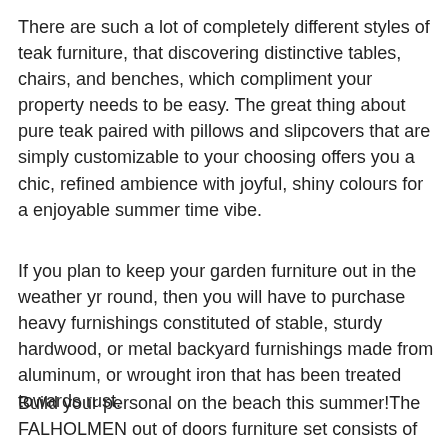There are such a lot of completely different styles of teak furniture, that discovering distinctive tables, chairs, and benches, which compliment your property needs to be easy. The great thing about pure teak paired with pillows and slipcovers that are simply customizable to your choosing offers you a chic, refined ambience with joyful, shiny colours for a enjoyable summer time vibe.
If you plan to keep your garden furniture out in the weather yr round, then you will have to purchase heavy furnishings constituted of stable, sturdy hardwood, or metal backyard furnishings made from aluminum, or wrought iron that has been treated towards rust.
Build your personal on the beach this summer!The FALHOLMEN out of doors furniture set consists of four stackable chairs and a folding table in real wood. Our Ventana teak eating teak garden furniture chair collections make the